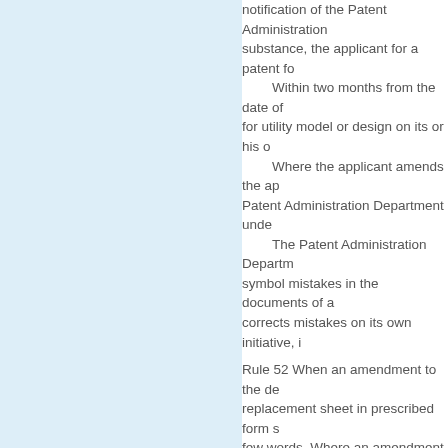notification of the Patent Administration substance, the applicant for a patent fo Within two months from the date of for utility model or design on its or his o Where the applicant amends the ap Patent Administration Department unde The Patent Administration Departm symbol mistakes in the documents of a corrects mistakes on its own initiative, i Rule 52 When an amendment to the de replacement sheet in prescribed form s few words. Where an amendment to th shall be submitted as prescribed. Rule 53 In accordance with the provisio invention shall be rejected by the Pater follows: (1) where the application does not c (2) where the application falls unde Article 22 of the Patent Law or of Rule l Implementing Regulations, or the applic Law; (3) where the application does not c the Patent Law; (4) where the amendment to the ap application does not comply with the pr Rule 54 After the Patent Administration applicant shall go through the formali